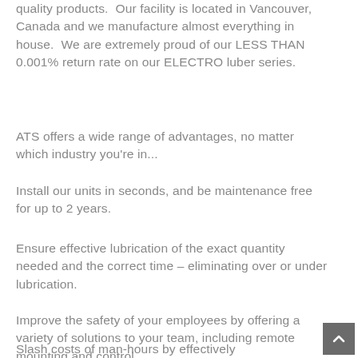quality products.  Our facility is located in Vancouver, Canada and we manufacture almost everything in house.  We are extremely proud of our LESS THAN 0.001% return rate on our ELECTRO luber series.
ATS offers a wide range of advantages, no matter which industry you're in...
Install our units in seconds, and be maintenance free for up to 2 years.
Ensure effective lubrication of the exact quantity needed and the correct time – eliminating over or under lubrication.
Improve the safety of your employees by offering a variety of solutions to your team, including remote mounting and control.
Slash costs of man-hours by effectively